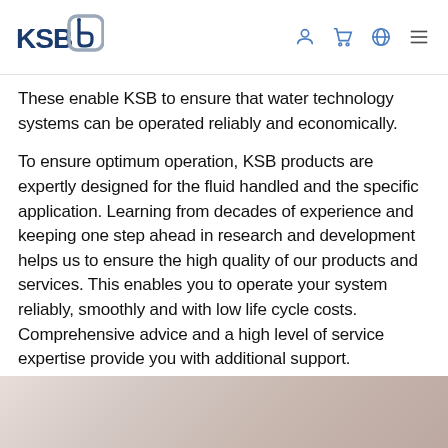KSB logo and navigation icons
These enable KSB to ensure that water technology systems can be operated reliably and economically.
To ensure optimum operation, KSB products are expertly designed for the fluid handled and the specific application. Learning from decades of experience and keeping one step ahead in research and development helps us to ensure the high quality of our products and services. This enables you to operate your system reliably, smoothly and with low life cycle costs. Comprehensive advice and a high level of service expertise provide you with additional support.
[Figure (photo): Partial view of a photo showing blurred/soft background, appearing to be an industrial or product image with pinkish-beige tones.]